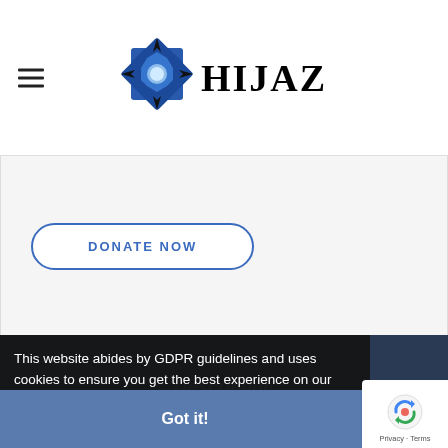[Figure (logo): HIJAZ brand logo with geometric star/octagon icon in blue and black, and bold black text 'HIJAZ']
DONATE NOW
This website abides by GDPR guidelines and uses cookies to ensure you get the best experience on our website. Learn More
Got it!
Description
Video
Gallery
[Figure (logo): reCAPTCHA badge with circular arrows icon and 'Privacy - Terms' text]